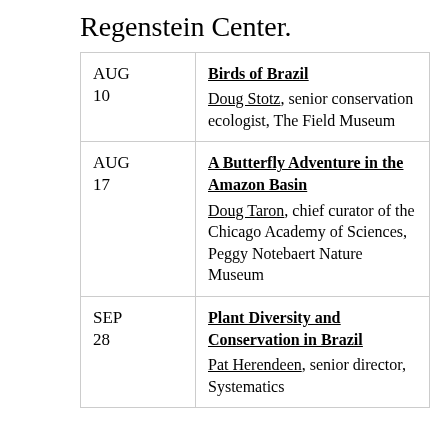Regenstein Center.
| Date | Event |
| --- | --- |
| AUG
10 | Birds of Brazil
Doug Stotz, senior conservation ecologist, The Field Museum |
| AUG
17 | A Butterfly Adventure in the Amazon Basin
Doug Taron, chief curator of the Chicago Academy of Sciences, Peggy Notebaert Nature Museum |
| SEP
28 | Plant Diversity and Conservation in Brazil
Pat Herendeen, senior director, Systematics |